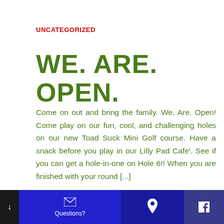UNCATEGORIZED
WE. ARE. OPEN.
Come on out and bring the family. We. Are. Open! Come play on our fun, cool, and challenging holes on our new Toad Suck Mini Golf course. Have a snack before you play in our Lilly Pad Cafe'. See if you can get a hole-in-one on Hole 6!! When you are finished with your round [...]
Questions? [location icon] [facebook icon]